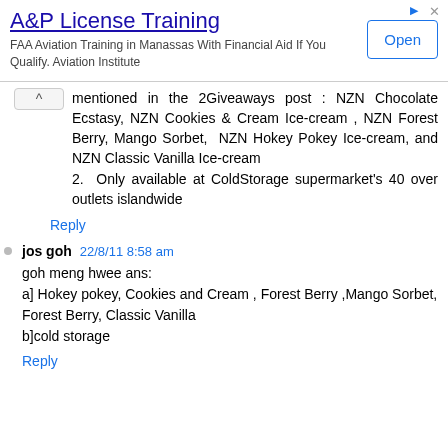[Figure (screenshot): Advertisement banner for A&P License Training with Open button]
mentioned in the 2Giveaways post : NZN Chocolate Ecstasy, NZN Cookies & Cream Ice-cream , NZN Forest Berry, Mango Sorbet, NZN Hokey Pokey Ice-cream, and NZN Classic Vanilla Ice-cream
2. Only available at ColdStorage supermarket's 40 over outlets islandwide
Reply
jos goh 22/8/11 8:58 am
goh meng hwee ans:
a] Hokey pokey, Cookies and Cream , Forest Berry ,Mango Sorbet, Forest Berry, Classic Vanilla
b]cold storage
Reply